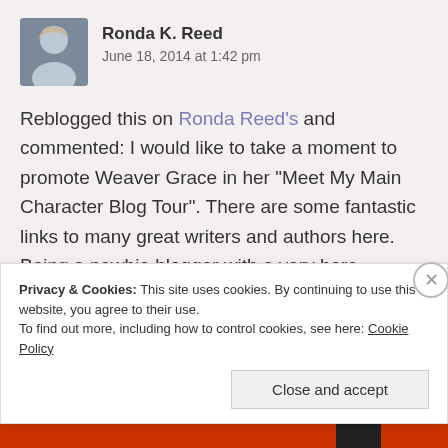Ronda K. Reed
June 18, 2014 at 1:42 pm
Reblogged this on Ronda Reed's and commented: I would like to take a moment to promote Weaver Grace in her “Meet My Main Character Blog Tour”. There are some fantastic links to many great writers and authors here. Being a newbie blogger with a very bare sidebar, I need to rectify this and get with the program. This is a great place to start, with Weaver Grace.
Privacy & Cookies: This site uses cookies. By continuing to use this website, you agree to their use.
To find out more, including how to control cookies, see here: Cookie Policy
Close and accept